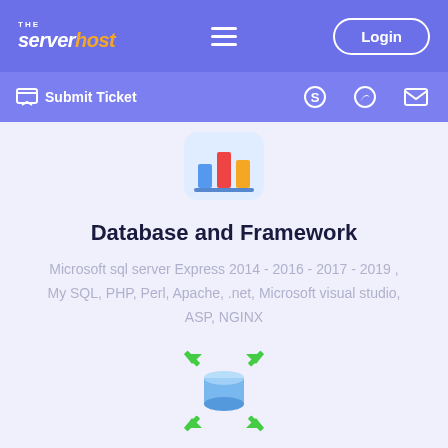THE ServerHost — Login — Submit Ticket
[Figure (illustration): Bar chart icon with blue, red, and orange bars on a light blue rounded square background]
Database and Framework
Microsoft sql server Express 2014 - 2016 - 2017 - 2019 , My SQL, PHP, Perl, Apache, .net, Microsoft visual studio, ASP, NGINX
[Figure (illustration): Database scalability icon: blue cylindrical database with green arrows pointing outward in four directions]